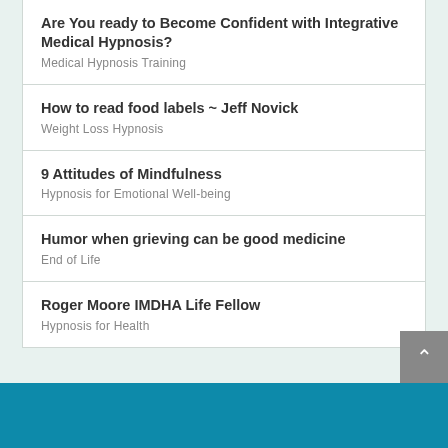Are You ready to Become Confident with Integrative Medical Hypnosis?
Medical Hypnosis Training
How to read food labels ~ Jeff Novick
Weight Loss Hypnosis
9 Attitudes of Mindfulness
Hypnosis for Emotional Well-being
Humor when grieving can be good medicine
End of Life
Roger Moore IMDHA Life Fellow
Hypnosis for Health